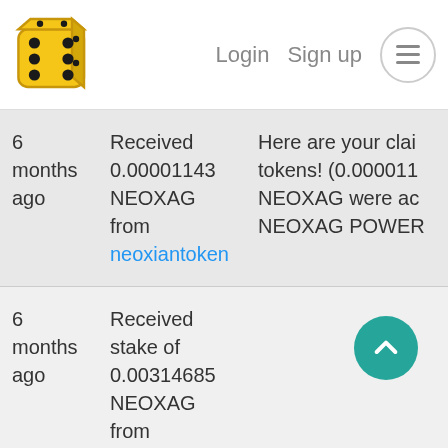Login  Sign up  ≡
| Time | Action | Memo |
| --- | --- | --- |
| 6 months ago | Received 0.00001143 NEOXAG from neoxiantoken | Here are your clai tokens! (0.000011 NEOXAG were ac NEOXAG POWER |
| 6 months ago | Received stake of 0.00314685 NEOXAG from neoxiantoken |  |
| 6 months ago | Received 0.00314685 NEOXAG from neoxiantoken | Here are your clai tokens! (0.003147 NEOXAG were ac NEOXAG POWER |
| 6 months ago | Received stake of 0.00384748 NEOXAG from neoxiantoken |  |